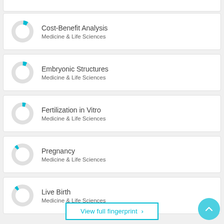Cost-Benefit Analysis — Medicine & Life Sciences
Embryonic Structures — Medicine & Life Sciences
Fertilization in Vitro — Medicine & Life Sciences
Pregnancy — Medicine & Life Sciences
Live Birth — Medicine & Life Sciences